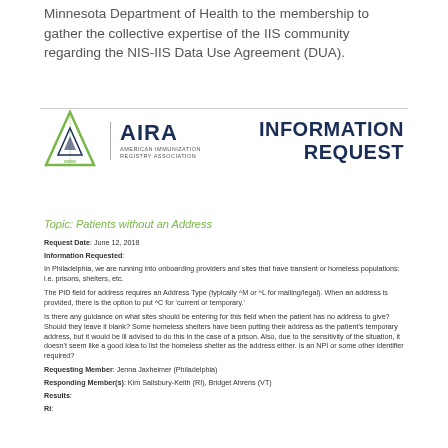Minnesota Department of Health to the membership to gather the collective expertise of the IIS community regarding the NIS-IIS Data Use Agreement (DUA).
[Figure (logo): AIRA - American Immunization Registry Association logo with triangle graphic, followed by bold text 'INFORMATION REQUEST']
Topic: Patients without an Address
Request Date: June 12, 2018
Information Requested:
In Philadelphia, we are running into onboarding providers and sites that have transient or homeless populations: i.e. prisons, shelters, etc.
The PID field for address requires an Address Type (typically ^M or ^L for mailing/legal). When an address is provided, there is the option to put ^C for 'current or temporary.'
Is there any guidance on what sites should be entering for this field when the patient has no address to give? Should they leave it blank? Some homeless shelters have been putting their address as the patient's temporary address, but it would be ill advised to do this in the case of a prison. Also, due to the sensitivity of the situation, it doesn't seem like a good idea to list the homeless shelter as the address either. Is an NPI or some other identifier required?
Requesting Member: Jenna Jaxheimer (Philadelphia)
Responding Member(s): Kim Salisbury-Keith (RI), Bridget Ahrens (VT)
Results:
RI: